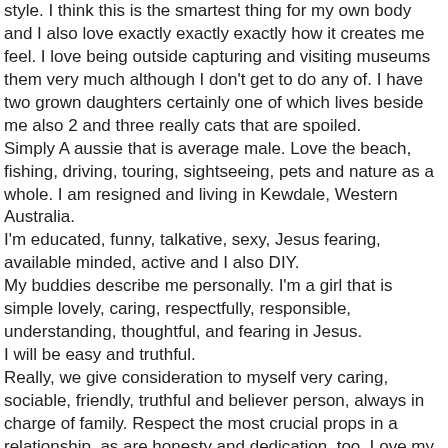style. I think this is the smartest thing for my own body and I also love exactly exactly exactly how it creates me feel. I love being outside capturing and visiting museums them very much although I don't get to do any of. I have two grown daughters certainly one of which lives beside me also 2 and three really cats that are spoiled.
Simply A aussie that is average male. Love the beach, fishing, driving, touring, sightseeing, pets and nature as a whole. I am resigned and living in Kewdale, Western Australia.
I'm educated, funny, talkative, sexy, Jesus fearing, available minded, active and I also DIY.
My buddies describe me personally. I'm a girl that is simple lovely, caring, respectfully, responsible, understanding, thoughtful, and fearing in Jesus.
I will be easy and truthful.
Really, we give consideration to myself very caring, sociable, friendly, truthful and believer person, always in charge of family. Respect the most crucial props in a relationship, as are honesty and dedication, too. Love my Savior and Him church. Reading and exploring the Bible is my very very very first aim.
This entry was posted in Uncategorized. Bookmark the permalink.
← Ny Land Financing, Loans and Notes
Dating whenever moms and dads live with adult son or daughter →
Leave a Reply